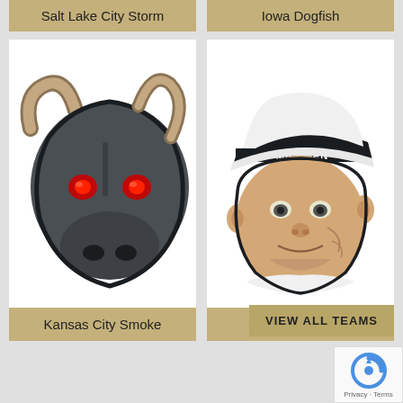Salt Lake City Storm
Iowa Dogfish
[Figure (logo): Kansas City Smoke bull logo - dark grey bull head with red glowing eyes and tan/gold horn]
Kansas City Smoke
[Figure (logo): Madison Milkmen logo - illustrated face of a milkman wearing a white cap with MILKMEN text]
Madison Milkmen
VIEW ALL TEAMS